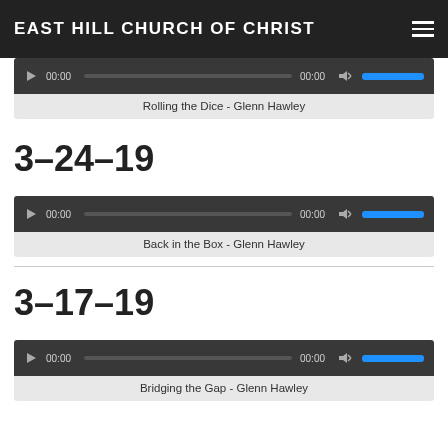EAST HILL CHURCH OF CHRIST
[Figure (screenshot): Audio player for 'Rolling the Dice - Glenn Hawley' with play button, progress bar, time 00:00, volume control]
Rolling the Dice - Glenn Hawley
3-24-19
[Figure (screenshot): Audio player for 'Back in the Box - Glenn Hawley' with play button, progress bar, time 00:00, volume control]
Back in the Box - Glenn Hawley
3-17-19
[Figure (screenshot): Audio player for 'Bridging the Gap - Glenn Hawley' with play button, progress bar, time 00:00, volume control]
Bridging the Gap - Glenn Hawley